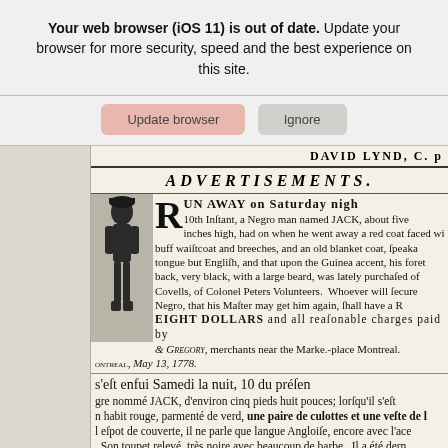Your web browser (iOS 11) is out of date. Update your browser for more security, speed and the best experience on this site.
[Figure (screenshot): Two buttons: 'Update browser' (pinkish) and 'Ignore' (grey)]
DAVID LYND, C. p
ADVERTISEMENTS.
[Figure (illustration): Woodcut illustration of a Black man, historical runaway slave advertisement figure]
RUN AWAY on Saturday nigh 10th Instant, a Negro man named JACK, about five inches high, had on when he went away a red coat faced wi buff waistcoat and breeches, and an old blanket coat, speaks tongue but English, and that upon the Guinea accent, his foret back, very black, with a large beard, was lately purchased of Covells, of Colonel Peters Volunteers. Whoever will secure Negro, that his Master may get him again, shall have a R EIGHT DOLLARS and all reasonable charges paid by & Gregory, merchants near the Marke.-place Montreal. MONTREAL, May 13, 1778.
s'est enfui Samedi la nuit, 10 du présen gre nommé JACK, d'environ cinq pieds huit pouces; lorsqu'il s'est n habit rouge, parmenté de verd, une paire de culottes et une veste de l espot de couverte, il ne parle que langue Angloife, encore avec l'ace Son toupet relevé, très noire avec beaucoup de barbe. Il a été dern du Capitaine Covells des volontaires du Colonel Peters. Quiconque ra tre à fon maitre, aura une récompenfe de HUIT PIASTRES,